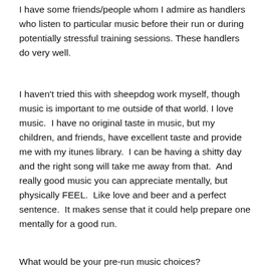I have some friends/people whom I admire as handlers who listen to particular music before their run or during potentially stressful training sessions. These handlers do very well.
I haven't tried this with sheepdog work myself, though music is important to me outside of that world. I love music.  I have no original taste in music, but my children, and friends, have excellent taste and provide me with my itunes library.  I can be having a shitty day and the right song will take me away from that.  And really good music you can appreciate mentally, but physically FEEL.  Like love and beer and a perfect sentence.  It makes sense that it could help prepare one mentally for a good run.
What would be your pre-run music choices?